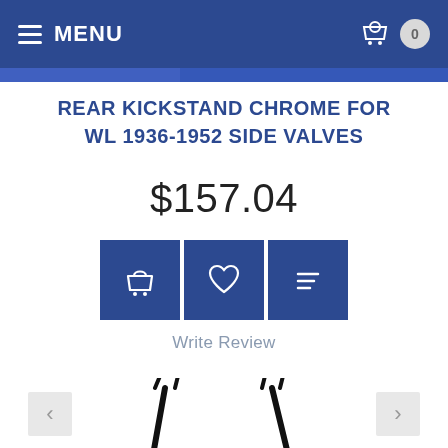MENU
REAR KICKSTAND CHROME FOR WL 1936-1952 SIDE VALVES
$157.04
[Figure (infographic): Three blue square buttons: shopping basket icon, heart/wishlist icon, and list/compare icon]
Write Review
[Figure (photo): Product photo of a rear kickstand in chrome/black finish, showing the two prong ends of the kickstand against a white background, with left and right navigation arrows on either side]